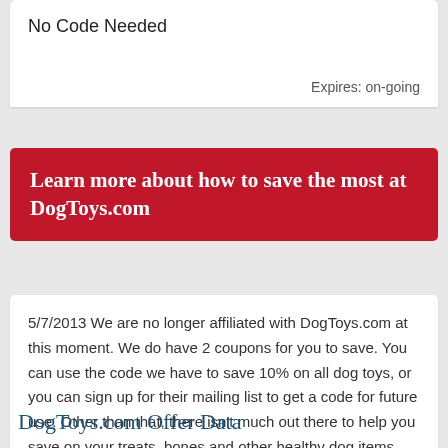No Code Needed
Expires: on-going
Learn more about how to save the most at DogToys.com
5/7/2013 We are no longer affiliated with DogToys.com at this moment. We do have 2 coupons for you to save. You can use the code we have to save 10% on all dog toys, or you can sign up for their mailing list to get a code for future use. Other than that, there isn't much out there to help you save on your treats, bones and other healthy dog items.
DogToys.com Offer Data